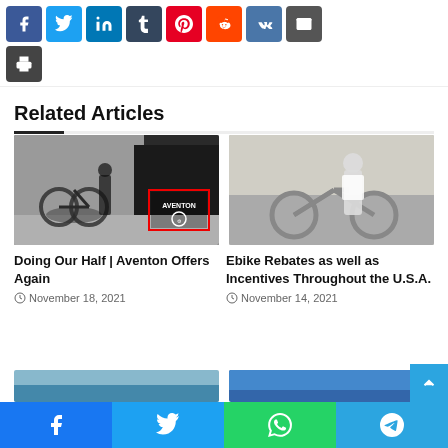[Figure (other): Social media share buttons: Facebook, Twitter, LinkedIn, Tumblr, Pinterest, Reddit, VK, Email, Print]
Related Articles
[Figure (photo): Photo of a person with electric bikes near a warehouse with Aventon branding]
Doing Our Half | Aventon Offers Again
November 18, 2021
[Figure (photo): Photo of a woman sitting next to an electric bike outdoors]
Ebike Rebates as well as Incentives Throughout the U.S.A.
November 14, 2021
[Figure (other): Bottom share bar with Facebook, Twitter, WhatsApp, Telegram buttons]